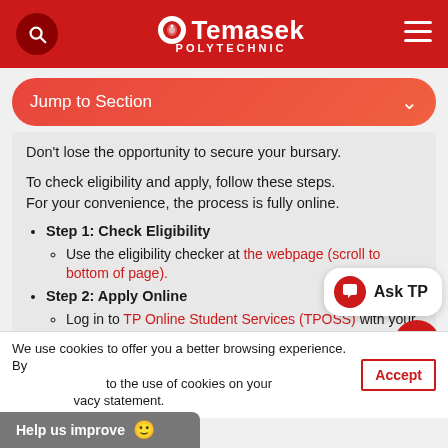Temasek Polytechnic
Jump to Section
Don't lose the opportunity to secure your bursary.
To check eligibility and apply, follow these steps. For your convenience, the process is fully online.
Step 1: Check Eligibility
Use the eligibility checker at the webpage (scroll to bottom of page).
Step 2: Apply Online
Log in to TP Online Student Services (TPOSS) with your student ID. Click
"Other Services (Student Admin)" →
We use cookies to offer you a better browsing experience. By ... to the use of cookies on your ... vacy statement.